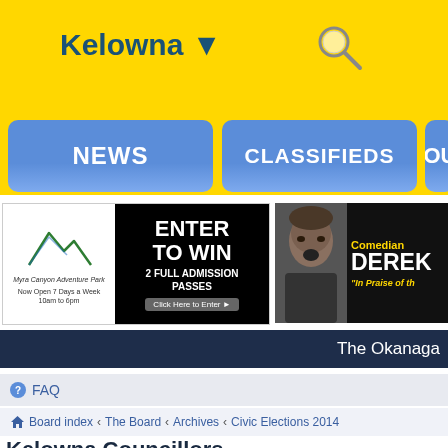Kelowna ▼
NEWS
CLASSIFIEDS
OU
[Figure (infographic): Myra Canyon Adventure Park ad: Enter to Win 2 Full Admission Passes. Now Open 7 Days a Week 10am to 6pm. Click Here to Enter.]
[Figure (infographic): Comedian Derek. In Praise of th...]
The Okanaga
FAQ
Board index › The Board › Archives › Civic Elections 2014
Kelowna Councillors